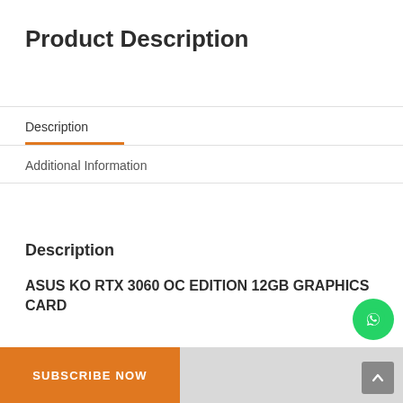Product Description
Description
Additional Information
Description
ASUS KO RTX 3060 OC EDITION 12GB GRAPHICS CARD